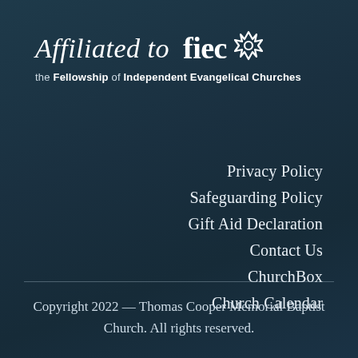[Figure (logo): FIEC affiliated logo — italic text 'Affiliated to fiec' with a circular arrow/gear icon, subtitle 'the Fellowship of Independent Evangelical Churches']
Privacy Policy
Safeguarding Policy
Gift Aid Declaration
Contact Us
ChurchBox
Church Calendar
Copyright 2022 — Thomas Cooper Memorial Baptist Church. All rights reserved.